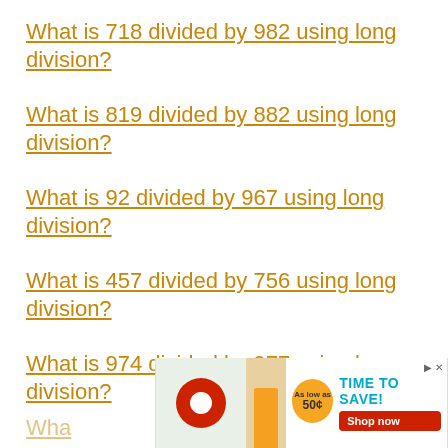What is 718 divided by 982 using long division?
What is 819 divided by 882 using long division?
What is 92 divided by 967 using long division?
What is 457 divided by 756 using long division?
What is 974 divided by 977 using long division?
Wha...
[Figure (other): Advertisement banner: As low as 50¢ TIME TO SAVE! Shop Now button with red circular icon and back-to-school supplies imagery.]